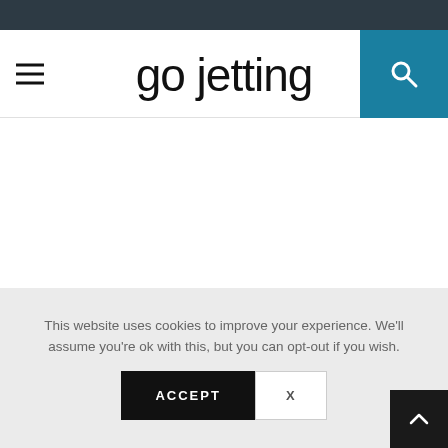go jetting
This website uses cookies to improve your experience. We'll assume you're ok with this, but you can opt-out if you wish.
ACCEPT   X